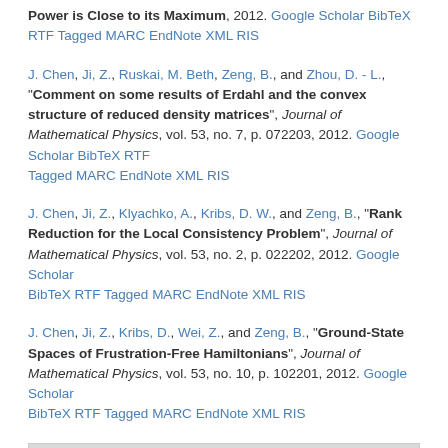Power is Close to its Maximum, 2012. Google Scholar BibTeX RTF Tagged MARC EndNote XML RIS
J. Chen, Ji, Z., Ruskai, M. Beth, Zeng, B., and Zhou, D. - L., "Comment on some results of Erdahl and the convex structure of reduced density matrices", Journal of Mathematical Physics, vol. 53, no. 7, p. 072203, 2012. Google Scholar BibTeX RTF Tagged MARC EndNote XML RIS
J. Chen, Ji, Z., Klyachko, A., Kribs, D. W., and Zeng, B., "Rank Reduction for the Local Consistency Problem", Journal of Mathematical Physics, vol. 53, no. 2, p. 022202, 2012. Google Scholar BibTeX RTF Tagged MARC EndNote XML RIS
J. Chen, Ji, Z., Kribs, D., Wei, Z., and Zeng, B., "Ground-State Spaces of Frustration-Free Hamiltonians", Journal of Mathematical Physics, vol. 53, no. 10, p. 102201, 2012. Google Scholar BibTeX RTF Tagged MARC EndNote XML RIS
2011
J. Chen, Chen, X., Duan, R., Ji, Z., and Zeng, B., "No-go Theorem for One-way Quantum Computing on Naturally Occurring Two-level Systems", Physical Review A, vol. 83, no. 5, 2011. Google